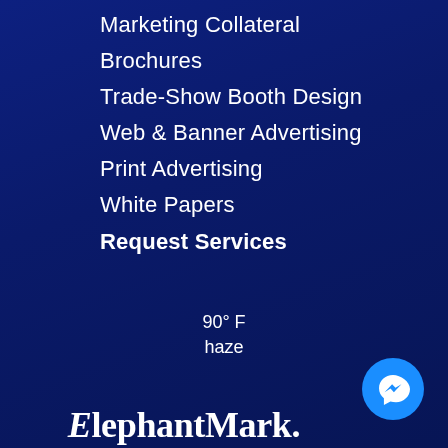Marketing Collateral
Brochures
Trade-Show Booth Design
Web & Banner Advertising
Print Advertising
White Papers
Request Services
90° F
haze
ElephantMark.
[Figure (logo): Facebook Messenger icon in a blue circular button]